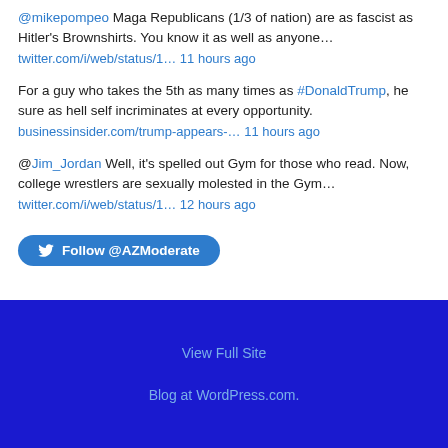@mikepompeo Maga Republicans (1/3 of nation) are as fascist as Hitler's Brownshirts. You know it as well as anyone… twitter.com/i/web/status/1… 11 hours ago
For a guy who takes the 5th as many times as #DonaldTrump, he sure as hell self incriminates at every opportunity. businessinsider.com/trump-appears-… 11 hours ago
@Jim_Jordan Well, it's spelled out Gym for those who read. Now, college wrestlers are sexually molested in the Gym… twitter.com/i/web/status/1… 12 hours ago
Follow @AZModerate
View Full Site
Blog at WordPress.com.